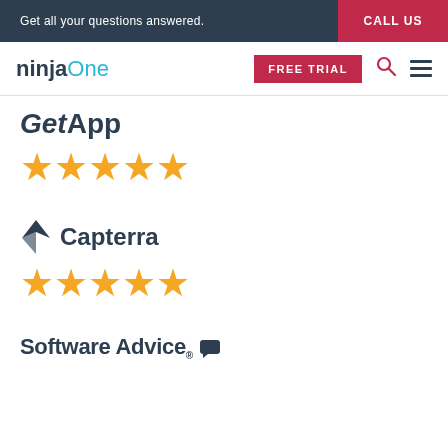Get all your questions answered.
CALL US
[Figure (logo): NinjaOne logo with ninja in dark blue bold and One in cyan]
[Figure (logo): GetApp logo in dark blue bold italic text]
[Figure (illustration): Five gold star rating under GetApp logo]
[Figure (logo): Capterra logo with dark blue arrow icon and text]
[Figure (illustration): Five gold star rating under Capterra logo]
[Figure (logo): Software Advice logo in dark blue bold text with chat bubble icon]